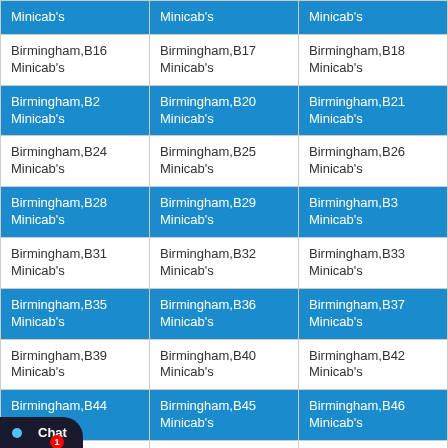| Minicab's | Minicab's | Minicab's |
| Birmingham,B16 Minicab's | Birmingham,B17 Minicab's | Birmingham,B18 Minicab's |
| Birmingham,B2 Minicab's | Birmingham,B20 Minicab's | Birmingham,B21 Minicab's |
| Birmingham,B24 Minicab's | Birmingham,B25 Minicab's | Birmingham,B26 Minicab's |
| Birmingham,B28 Minicab's | Birmingham,B29 Minicab's | Birmingham,B3 Minicab's |
| Birmingham,B31 Minicab's | Birmingham,B32 Minicab's | Birmingham,B33 Minicab's |
| Birmingham,B35 Minicab's | Birmingham,B36 Minicab's | Birmingham,B37 Minicab's |
| Birmingham,B39 Minicab's | Birmingham,B40 Minicab's | Birmingham,B42 Minicab's |
| Birmingham,B44 Minicab's | Birmingham,B45 Minicab's | Birmingham,B46 Minicab's |
| Birmingham,B48 Minicab's | Alcester,B49 Minicab's | Birmingham,B5 Minicab's |
| Birmingham,B6 Minicab's | Bromsgrove,B60 Minicab's | Bromsgrove,B61 Minicab's |
[Figure (screenshot): Live chat popup overlay with message 'Hello there! Good Day! We have Hidden offers on most of our routes, interested to know what lies on...' and a chat button at bottom left.]